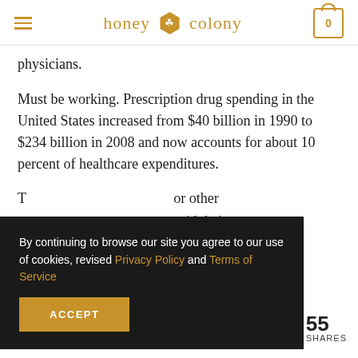honey colony
physicians.
Must be working. Prescription drug spending in the United States increased from $40 billion in 1990 to $234 billion in 2008 and now accounts for about 10 percent of healthcare expenditures.
T...or other ...aid their ...roduct,
By continuing to browse our site you agree to our use of cookies, revised Privacy Policy and Terms of Service
ACCEPT
55 SHARES